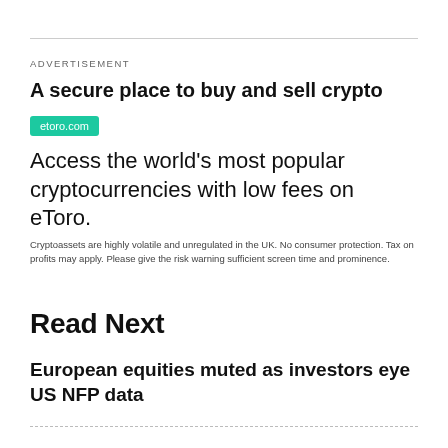ADVERTISEMENT
A secure place to buy and sell crypto
etoro.com
Access the world's most popular cryptocurrencies with low fees on eToro.
Cryptoassets are highly volatile and unregulated in the UK. No consumer protection. Tax on profits may apply. Please give the risk warning sufficient screen time and prominence.
Read Next
European equities muted as investors eye US NFP data